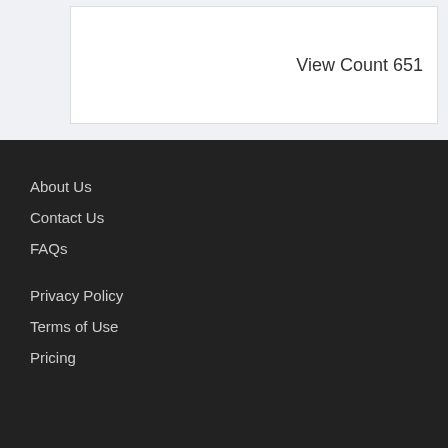View Count 651
About Us
Contact Us
FAQs
Privacy Policy
Terms of Use
Pricing